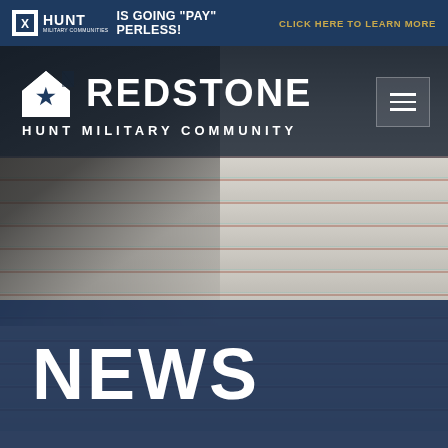HUNT MILITARY COMMUNITIES IS GOING "PAY" PERLESS! CLICK HERE TO LEARN MORE
[Figure (screenshot): Website screenshot of Redstone Hunt Military Community page with house siding background photo, navigation header with logo and hamburger menu, and NEWS section banner]
REDSTONE
HUNT MILITARY COMMUNITY
NEWS